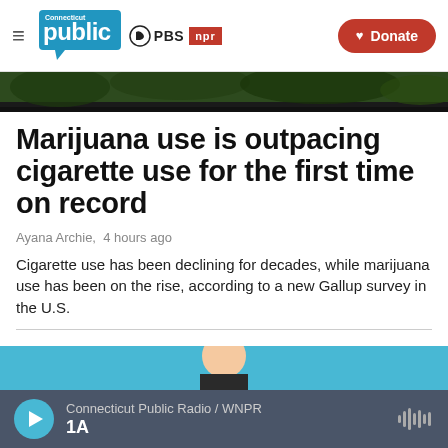Connecticut Public | PBS | NPR | Donate
[Figure (photo): Top portion of an outdoor photo, partially cropped, showing dark green foliage]
Marijuana use is outpacing cigarette use for the first time on record
Ayana Archie,  4 hours ago
Cigarette use has been declining for decades, while marijuana use has been on the rise, according to a new Gallup survey in the U.S.
[Figure (photo): Bottom portion of article image partially visible, showing teal/cyan background with partial figure]
Connecticut Public Radio / WNPR | 1A